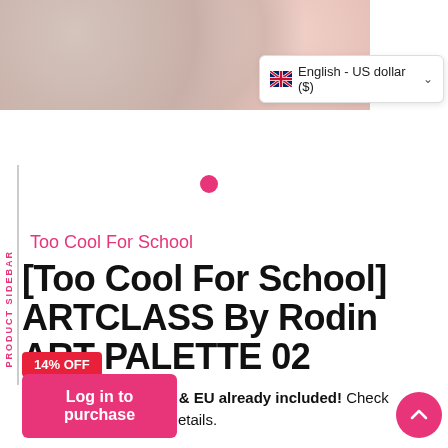[Figure (photo): Makeup palette product image showing circular pans with pink/peach tones on dark background]
English - US dollar ($)
PRODUCT SIDEBAR
Too Cool For School
[Too Cool For School] ARTCLASS By Rodin ART PALETTE 02
14% OFF
FREE Shipping to UK & EU already included! Check shipping policy for full details.
Log in to purchase